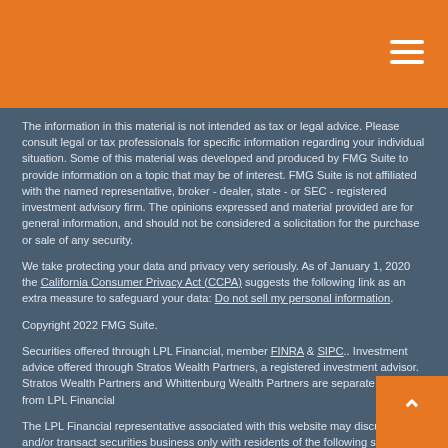[Orange header bar with hamburger menu icon]
The information in this material is not intended as tax or legal advice. Please consult legal or tax professionals for specific information regarding your individual situation. Some of this material was developed and produced by FMG Suite to provide information on a topic that may be of interest. FMG Suite is not affiliated with the named representative, broker - dealer, state - or SEC - registered investment advisory firm. The opinions expressed and material provided are for general information, and should not be considered a solicitation for the purchase or sale of any security.
We take protecting your data and privacy very seriously. As of January 1, 2020 the California Consumer Privacy Act (CCPA) suggests the following link as an extra measure to safeguard your data: Do not sell my personal information.
Copyright 2022 FMG Suite.
Securities offered through LPL Financial, member FINRA & SIPC.. Investment advice offered through Stratos Wealth Partners, a registered investment advisor. Stratos Wealth Partners and Whittenburg Wealth Partners are separate entities from LPL Financial
The LPL Financial representative associated with this website may discuss and/or transact securities business only with residents of the following states: AZ, CA, HI, ID, IL, MT, NE, NV, OH, OK, OR, UT, WA.